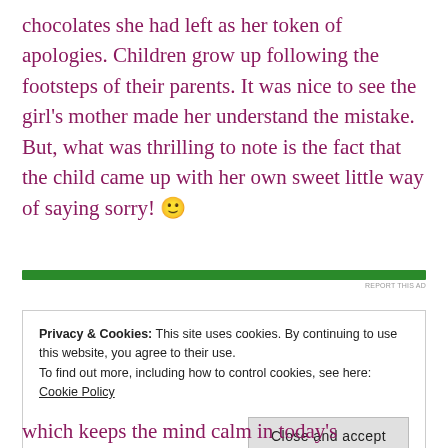chocolates she had left as her token of apologies. Children grow up following the footsteps of their parents. It was nice to see the girl's mother made her understand the mistake. But, what was thrilling to note is the fact that the child came up with her own sweet little way of saying sorry! 🙂
[Figure (other): Green advertisement bar with 'REPORT THIS AD' text in small gray letters on the right]
Privacy & Cookies: This site uses cookies. By continuing to use this website, you agree to their use.
To find out more, including how to control cookies, see here: Cookie Policy
[Close and accept button]
which keeps the mind calm in today's